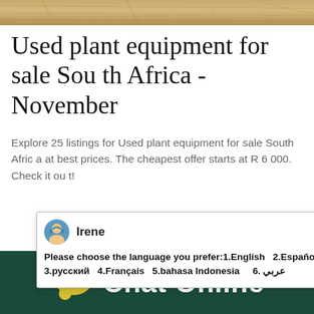[Figure (photo): Top banner image showing sandy/desert terrain in brown and tan tones]
Used plant equipment for sale South Africa - November
Explore 25 listings for Used plant equipment for sale South Africa at best prices. The cheapest offer starts at R 6 000. Check it out!
[Figure (screenshot): Chat popup with agent Irene asking user to choose language: 1.English 2.Español 3.русский 4.Français 5.bahasa Indonesia 6. عربي with a close X button]
Reviews
[Figure (other): Five gold/orange star rating icons]
[Figure (screenshot): Right side blue chat widget with a badge showing number 1 and Click me to chat button, with game-like interface elements]
[Figure (photo): Bottom partial image of industrial building with blue roof]
[Figure (other): Green Enquiry button/panel]
[Figure (logo): Chat Online branding footer: yellow speech bubble icon with dots and white Chat Online text on dark green background]